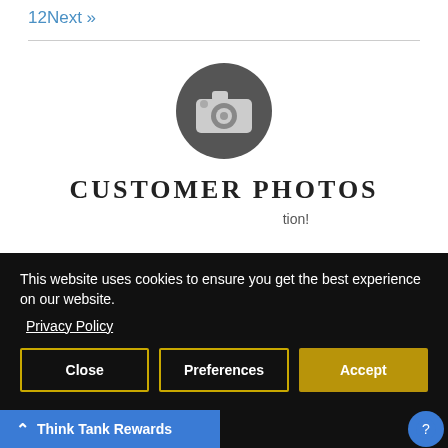1 2 Next »
[Figure (illustration): Camera icon in a dark gray circle, representing customer photos section]
CUSTOMER PHOTOS
...tion!
This website uses cookies to ensure you get the best experience on our website.
Privacy Policy
Close   Preferences   Accept
Think Tank Rewards
...t new ...